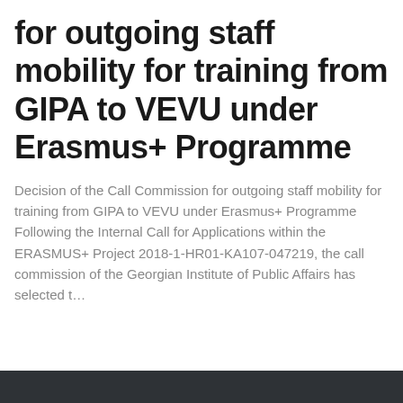for outgoing staff mobility for training from GIPA to VEVU under Erasmus+ Programme
Decision of the Call Commission for outgoing staff mobility for training from GIPA to VEVU under Erasmus+ Programme   Following the Internal Call for Applications within the ERASMUS+ Project 2018-1-HR01-KA107-047219, the call commission of the Georgian Institute of Public Affairs has selected t…